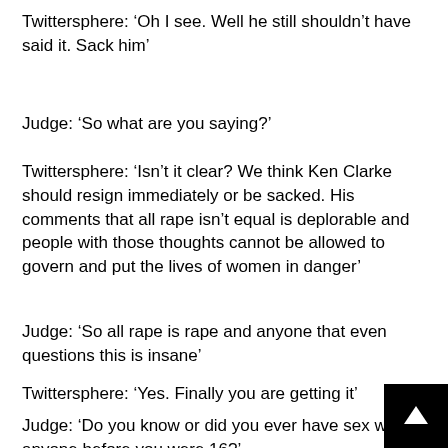Twittersphere: ‘Oh I see. Well he still shouldn’t have said it. Sack him’
Judge: ‘So what are you saying?’
Twittersphere: ‘Isn’t it clear? We think Ken Clarke should resign immediately or be sacked. His comments that all rape isn’t equal is deplorable and people with those thoughts cannot be allowed to govern and put the lives of women in danger’
Judge: ‘So all rape is rape and anyone that even questions this is insane’
Twittersphere: ‘Yes. Finally you are getting it’
Judge: ‘Do you know or did you ever have sex with anyone before you were 16?’